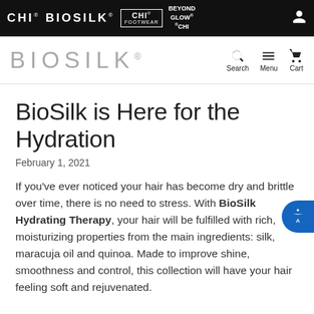CHI BIOSILK® | CHI FOOTWEAR | BEYOND GLOW *CHI
BIOSILK®  Search  Menu  Cart
BioSilk is Here for the Hydration
February 1, 2021
If you've ever noticed your hair has become dry and brittle over time, there is no need to stress. With BioSilk Hydrating Therapy, your hair will be fulfilled with rich, moisturizing properties from the main ingredients: silk, maracuja oil and quinoa. Made to improve shine, smoothness and control, this collection will have your hair feeling soft and rejuvenated.